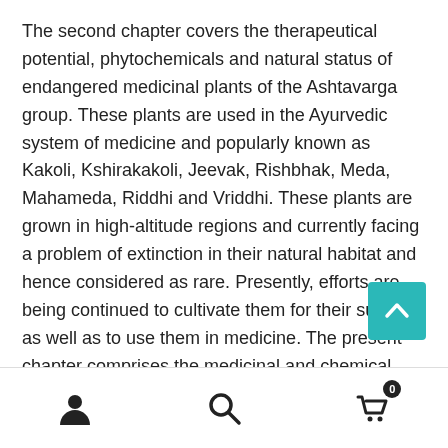The second chapter covers the therapeutical potential, phytochemicals and natural status of endangered medicinal plants of the Ashtavarga group. These plants are used in the Ayurvedic system of medicine and popularly known as Kakoli, Kshirakakoli, Jeevak, Rishbhak, Meda, Mahameda, Riddhi and Vriddhi. These plants are grown in high-altitude regions and currently facing a problem of extinction in their natural habitat and hence considered as rare. Presently, efforts are being continued to cultivate them for their survival as well as to use them in medicine. The present chapter comprises the medicinal and chemical profile of ashtavarga plants together with their proper identification and traditional uses.
The third chapter describes the nutritional products
[Figure (other): Back to top button (teal/cyan square with upward chevron arrow)]
User icon, Search icon, Cart icon with badge 0